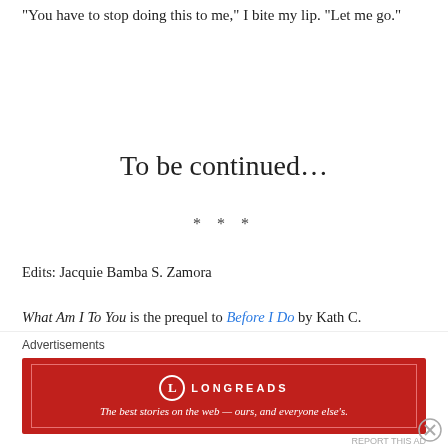“You have to stop doing this to me,” I bite my lip. “Let me go.”
To be continued…
* * *
Edits: Jacquie Bamba S. Zamora
What Am I To You is the prequel to Before I Do by Kath C. Eustaquio-Derla. Before I Do is available at National Bookstore, Powerbooks and Uniqube.
What Am I To You
Advertisements
[Figure (other): Longreads advertisement banner: red background with Longreads logo and tagline 'The best stories on the web — ours, and everyone else’s.']